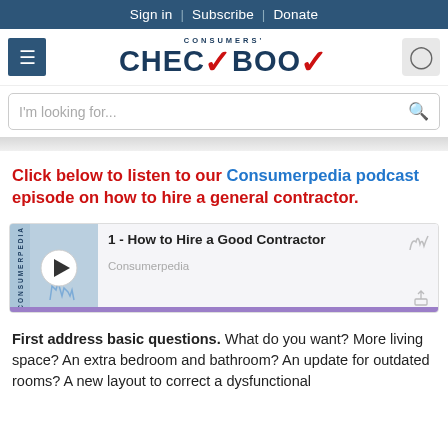Sign in | Subscribe | Donate
[Figure (logo): Consumers' Checkbook logo with red checkmark]
I'm looking for...
Click below to listen to our Consumerpedia podcast episode on how to hire a general contractor.
[Figure (screenshot): Podcast widget: 1 - How to Hire a Good Contractor, Consumerpedia]
First address basic questions. What do you want? More living space? An extra bedroom and bathroom? An update for outdated rooms? A new layout to correct a dysfunctional